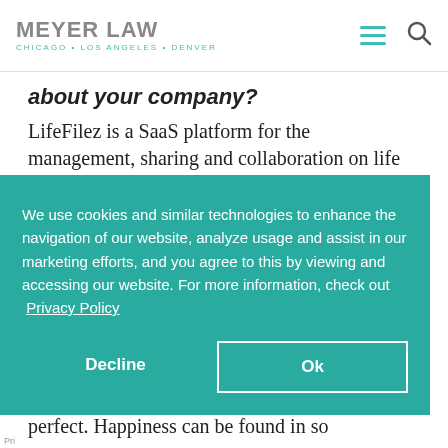MEYER LAW — CHICAGO • LOS ANGELES • DENVER
about your company?
LifeFilez is a SaaS platform for the management, sharing and collaboration on life documents.
We use cookies and similar technologies to enhance the navigation of our website, analyze usage and assist in our marketing efforts, and you agree to this by viewing and accessing our website. For more information, check out  Privacy Policy
Decline
Ok
perfect. Happiness can be found in so